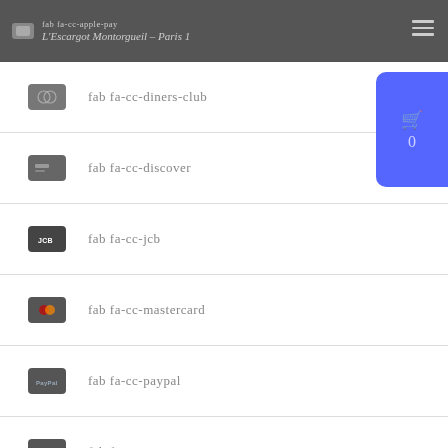fab fa-cc-apple-pay | L'Escargot Montorgueil - Paris 1
fab fa-cc-diners-club
fab fa-cc-discover
fab fa-cc-jcb
fab fa-cc-mastercard
fab fa-cc-paypal
fab fa-cc-stripe
fab fa-cc-visa